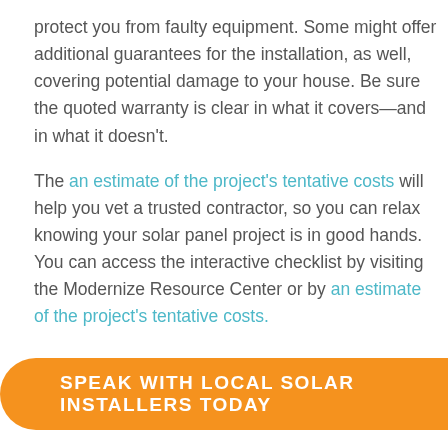protect you from faulty equipment. Some might offer additional guarantees for the installation, as well, covering potential damage to your house. Be sure the quoted warranty is clear in what it covers—and in what it doesn't.

The an estimate of the project's tentative costs will help you vet a trusted contractor, so you can relax knowing your solar panel project is in good hands. You can access the interactive checklist by visiting the Modernize Resource Center or by an estimate of the project's tentative costs.
SPEAK WITH LOCAL SOLAR INSTALLERS TODAY